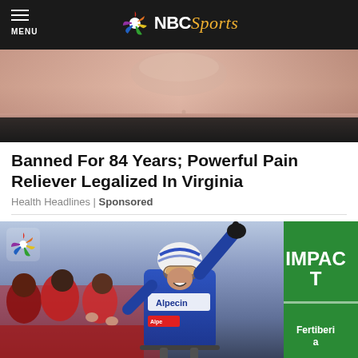NBC Sports
[Figure (photo): Close-up photo of a finger or skin, used as advertisement image for health product]
Banned For 84 Years; Powerful Pain Reliever Legalized In Virginia
Health Headlines | Sponsored
[Figure (photo): Cyclist in Alpecin-Deceuninck blue kit celebrating a race victory with one finger raised, crowd in red jackets visible on left, green IMPACT Fertiberia banner visible on right]